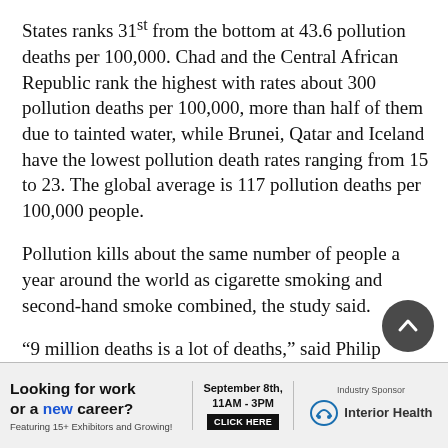States ranks 31st from the bottom at 43.6 pollution deaths per 100,000. Chad and the Central African Republic rank the highest with rates about 300 pollution deaths per 100,000, more than half of them due to tainted water, while Brunei, Qatar and Iceland have the lowest pollution death rates ranging from 15 to 23. The global average is 117 pollution deaths per 100,000 people.
Pollution kills about the same number of people a year around the world as cigarette smoking and second-hand smoke combined, the study said.
“9 million deaths is a lot of deaths,” said Philip Landrigan, director of the Global Public Health Program and Global Pollution Observ...
[Figure (infographic): Advertisement banner: 'Looking for work or a new career? Featuring 15+ Exhibitors and Growing! September 8th, 11AM-3PM CLICK HERE. Industry Sponsor: Interior Health logo']